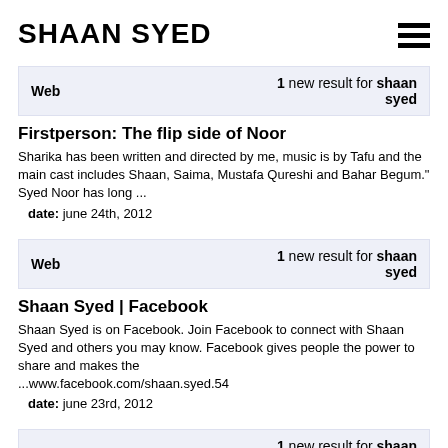SHAAN SYED
Web  1 new result for shaan syed
Firstperson: The flip side of Noor
Sharika has been written and directed by me, music is by Tafu and the main cast includes Shaan, Saima, Mustafa Qureshi and Bahar Begum." Syed Noor has long ...
date: june 24th, 2012
Web  1 new result for shaan syed
Shaan Syed | Facebook
Shaan Syed is on Facebook. Join Facebook to connect with Shaan Syed and others you may know. Facebook gives people the power to share and makes the ...www.facebook.com/shaan.syed.54
date: june 23rd, 2012
Web  1 new result for shaan syed